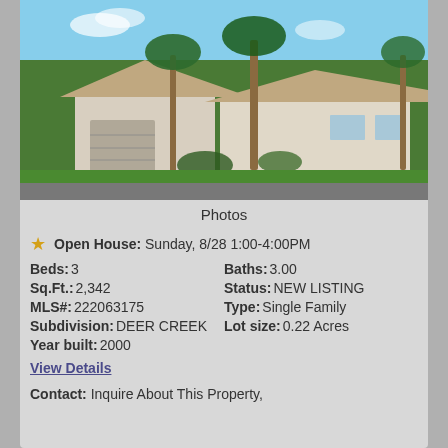[Figure (photo): Exterior photo of a single-family home with a two-car garage, palm trees, and lush green landscaping under a blue sky.]
Photos
Open House: Sunday, 8/28 1:00-4:00PM
| Beds: | 3 | Baths: | 3.00 |
| Sq.Ft.: | 2,342 | Status: | NEW LISTING |
| MLS#: | 222063175 | Type: | Single Family |
| Subdivision: | DEER CREEK | Lot size: | 0.22 Acres |
| Year built: | 2000 |  |  |
View Details
Contact: Inquire About This Property,